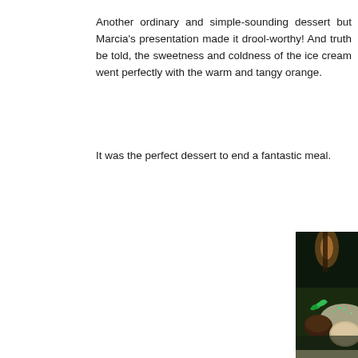Another ordinary and simple-sounding dessert but Marcia's presentation made it drool-worthy! And truth be told, the sweetness and coldness of the ice cream went perfectly with the warm and tangy orange.
It was the perfect dessert to end a fantastic meal.
[Figure (photo): A close-up photo of a dessert dish with a chocolate-glazed item topped with fresh mint leaves, served on a white plate with what appears to be ice cream, illuminated by green ambient lighting in a dim restaurant setting.]